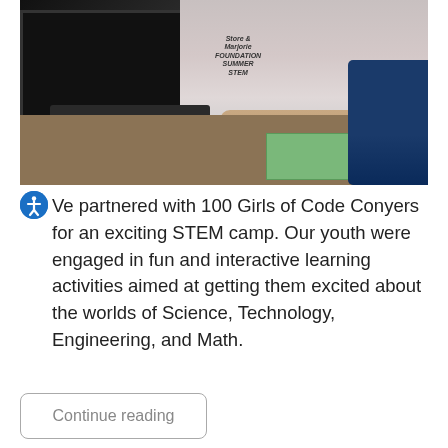[Figure (photo): A young woman wearing a STEM summer camp t-shirt sitting at a desk with a laptop, working with electronic components and a green box, another person visible on the right side.]
We partnered with 100 Girls of Code Conyers for an exciting STEM camp. Our youth were engaged in fun and interactive learning activities aimed at getting them excited about the worlds of Science, Technology, Engineering, and Math.
Continue reading